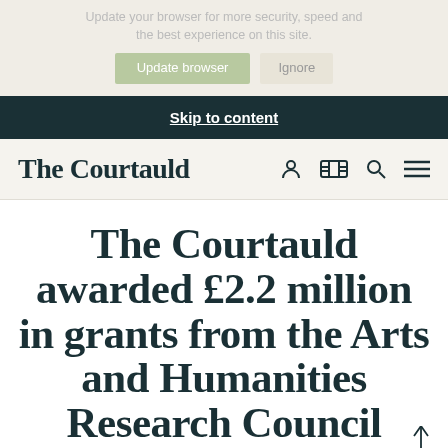Update your browser for more security, speed and the best experience on this site.
Update browser   Ignore
Skip to content
The Courtauld
The Courtauld awarded £2.2 million in grants from the Arts and Humanities Research Council Capabilities for...